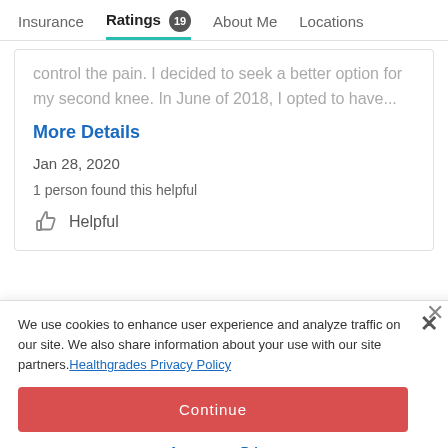Insurance | Ratings 19 | About Me | Locations
control the pain. I decided to seek a better option for my second knee. In June of 2018, I opted to have...
More Details
Jan 28, 2020
1 person found this helpful
Helpful
We use cookies to enhance user experience and analyze traffic on our site. We also share information about your use with our site partners. Healthgrades Privacy Policy
Continue
Access my Privacy Preferences